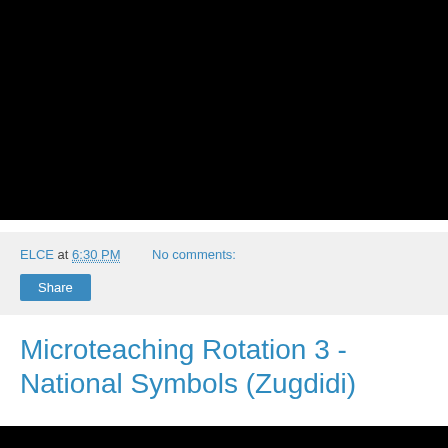[Figure (other): Black rectangle representing an embedded video player]
ELCE at 6:30 PM   No comments:
Share
Microteaching Rotation 3 - National Symbols (Zugdidi)